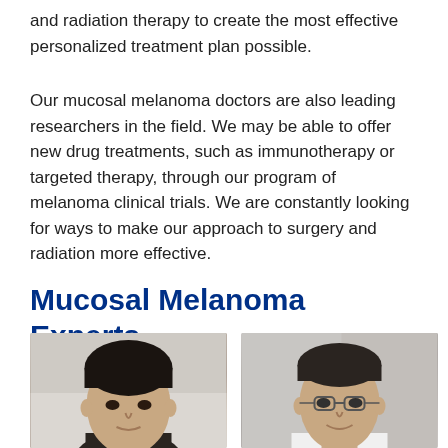and radiation therapy to create the most effective personalized treatment plan possible.
Our mucosal melanoma doctors are also leading researchers in the field. We may be able to offer new drug treatments, such as immunotherapy or targeted therapy, through our program of melanoma clinical trials. We are constantly looking for ways to make our approach to surgery and radiation more effective.
Mucosal Melanoma Experts
[Figure (photo): Headshot of a male doctor with dark hair, younger, against a light blurred background]
[Figure (photo): Headshot of a male doctor wearing glasses, smiling, in a white coat against a light blurred background]